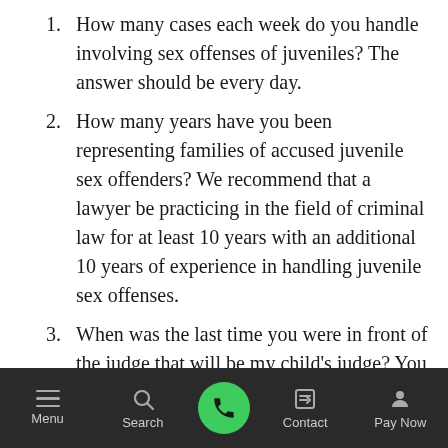How many cases each week do you handle involving sex offenses of juveniles? The answer should be every day.
How many years have you been representing families of accused juvenile sex offenders? We recommend that a lawyer be practicing in the field of criminal law for at least 10 years with an additional 10 years of experience in handling juvenile sex offenses.
When was the last time you were in front of the judge that will be my child's judge? You want a lawyer who has practiced before the juvenile judge at least once in the
Menu  Search  [call]  Contact  Pay Now